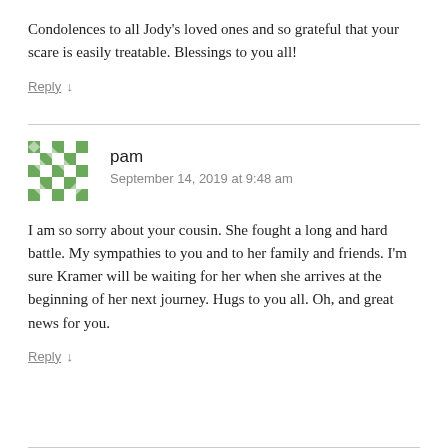Condolences to all Jody's loved ones and so grateful that your scare is easily treatable. Blessings to you all!
Reply ↓
[Figure (illustration): Green and white mosaic/geometric avatar icon for user 'pam']
pam
September 14, 2019 at 9:48 am
I am so sorry about your cousin. She fought a long and hard battle. My sympathies to you and to her family and friends. I'm sure Kramer will be waiting for her when she arrives at the beginning of her next journey. Hugs to you all. Oh, and great news for you.
Reply ↓